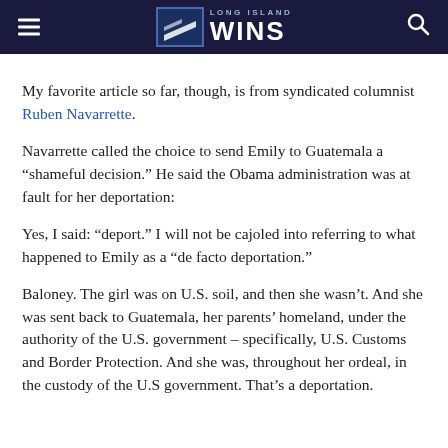Long Island Wins
My favorite article so far, though, is from syndicated columnist Ruben Navarrette.
Navarrette called the choice to send Emily to Guatemala a “shameful decision.” He said the Obama administration was at fault for her deportation:
Yes, I said: “deport.” I will not be cajoled into referring to what happened to Emily as a “de facto deportation.”
Baloney. The girl was on U.S. soil, and then she wasn’t. And she was sent back to Guatemala, her parents’ homeland, under the authority of the U.S. government – specifically, U.S. Customs and Border Protection. And she was, throughout her ordeal, in the custody of the U.S government. That’s a deportation.